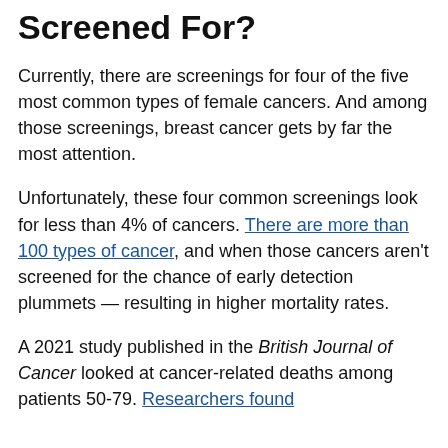Screened For?
Currently, there are screenings for four of the five most common types of female cancers. And among those screenings, breast cancer gets by far the most attention.
Unfortunately, these four common screenings look for less than 4% of cancers. There are more than 100 types of cancer, and when those cancers aren't screened for the chance of early detection plummets — resulting in higher mortality rates.
A 2021 study published in the British Journal of Cancer looked at cancer-related deaths among patients 50-79. Researchers found